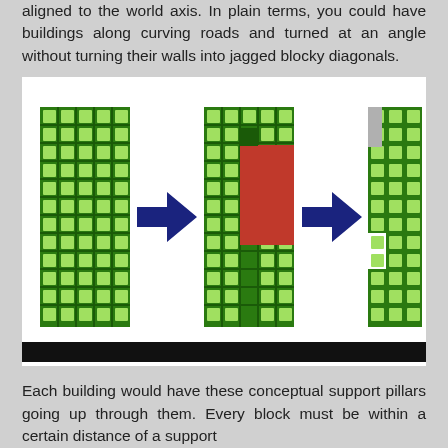aligned to the world axis. In plain terms, you could have buildings along curving roads and turned at an angle without turning their walls into jagged blocky diagonals.
[Figure (illustration): Three-panel pixel-art style diagram showing buildings made of green blocks. Left panel: a rectangular green pixel building. Middle panel: the same building with a red/orange rectangular section overlapping it and a dark green square at top, with a dark blue arrow pointing right toward it. Right panel: the building after transformation, showing a stepped/angled green pixel building, with another dark blue arrow pointing right into it. A black bar runs across the bottom of the image.]
Each building would have these conceptual support pillars going up through them. Every block must be within a certain distance of a support